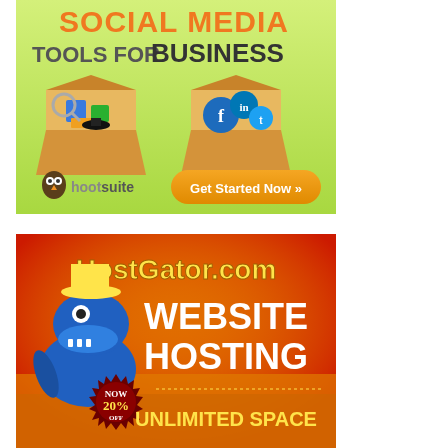[Figure (illustration): HootSuite advertisement banner: green gradient background, text 'SOCIAL MEDIA TOOLS FOR BUSINESS' in orange and dark gray, two cardboard boxes containing business/social media icons, HootSuite owl logo with 'hootsuite' text, orange 'Get Started Now >>' button]
[Figure (illustration): HostGator advertisement banner: red/orange gradient background with yellow radial glow, 'HostGator.com' in yellow outlined text, cartoon blue gator mascot, 'WEBSITE HOSTING' in large white bold text, 'NOW 20% OFF' in a dark red sunburst badge, 'UNLIMITED SPACE' in yellow text]